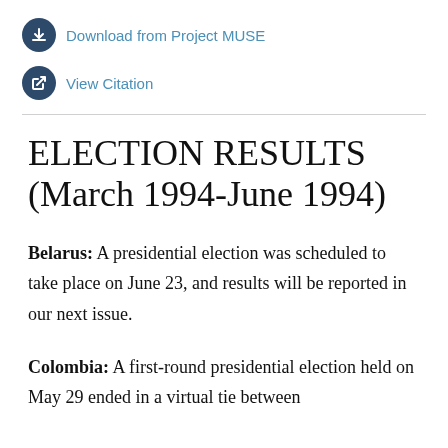Download from Project MUSE
View Citation
ELECTION RESULTS (March 1994-June 1994)
Belarus: A presidential election was scheduled to take place on June 23, and results will be reported in our next issue.
Colombia: A first-round presidential election held on May 29 ended in a virtual tie between